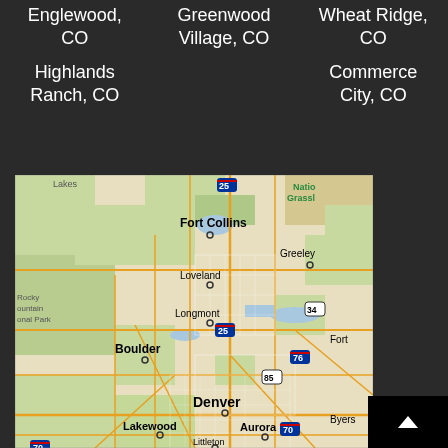Englewood, CO
Highlands Ranch, CO
Greenwood Village, CO
Wheat Ridge, CO
Commerce City, CO
[Figure (map): Map of northern Colorado showing Fort Collins, Greeley, Loveland, Longmont, Boulder, Denver, Lakewood, Aurora, Littleton and surrounding areas with highway markers including I-25, I-76, I-70, US-34, US-85.]